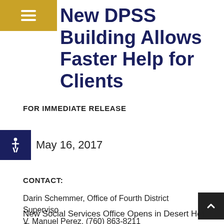New DPSS Building Allows Faster Help for Clients
FOR IMMEDIATE RELEASE
May 16, 2017
CONTACT:
Darin Schemmer, Office of Fourth District Supervisor V. Manuel Perez, (760) 863-8211
New Social Services Office Opens in Desert Hot Springs